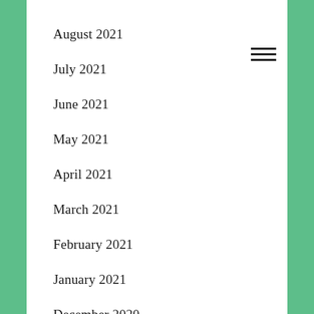August 2021
July 2021
June 2021
May 2021
April 2021
March 2021
February 2021
January 2021
December 2020
November 2020
October 2020